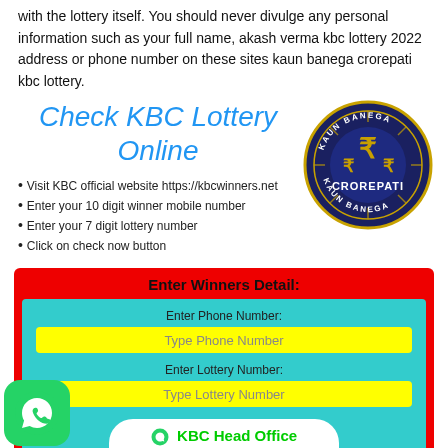with the lottery itself. You should never divulge any personal information such as your full name, akash verma kbc lottery 2022 address or phone number on these sites kaun banega crorepati kbc lottery.
[Figure (infographic): Check KBC Lottery Online infographic with title in blue italic text, bullet list of steps, and Kaun Banega Crorepati Crorepati circular logo]
[Figure (screenshot): Enter Winners Detail form with red border, teal background, yellow input fields for phone number and lottery number, white rounded button for KBC Head Office Number Call Now in green text]
[Figure (logo): WhatsApp green icon in bottom left corner]